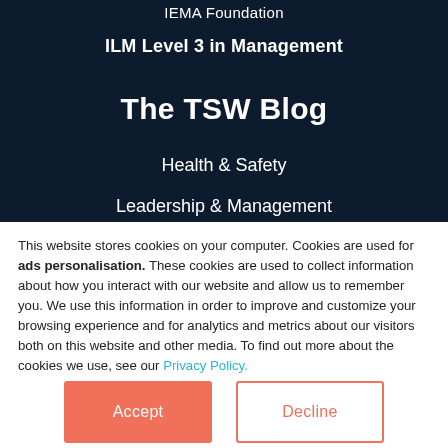IEMA Foundation
ILM Level 3 in Management
The TSW Blog
Health & Safety
Leadership & Management
This website stores cookies on your computer. Cookies are used for ads personalisation. These cookies are used to collect information about how you interact with our website and allow us to remember you. We use this information in order to improve and customize your browsing experience and for analytics and metrics about our visitors both on this website and other media. To find out more about the cookies we use, see our Privacy Policy.
If you decline, your information won't be tracked when you visit this website.